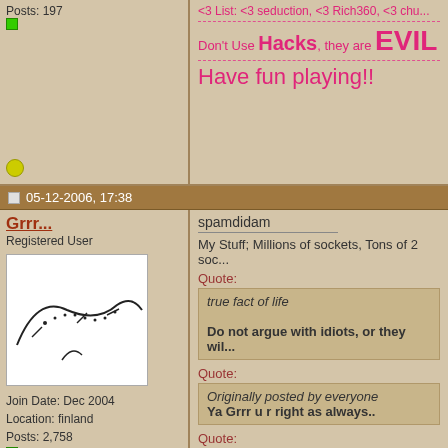Posts: 197
<3 List: <3 seduction, <3 Rich360, <3 chu...
Don't Use Hacks, they are EVIL
Have fun playing!!
05-12-2006, 17:38
Grrr...
Registered User
spamdidam
My Stuff; Millions of sockets, Tons of 2 soc...
Quote: true fact of life
Do not argue with idiots, or they wil...
Quote: Originally posted by everyone
Ya Grrr u r right as always..
Quote: Originally posted by Eurochic
Join Date: Dec 2004
Location: finland
Posts: 2,758